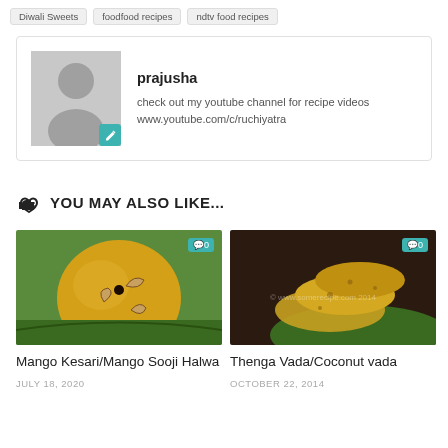Diwali Sweets
foodfood recipes
ndtv food recipes
prajusha
check out my youtube channel for recipe videos www.youtube.com/c/ruchiyatra
YOU MAY ALSO LIKE...
[Figure (photo): Mango Kesari / Mango Sooji Halwa - a round yellow sweet ball with cashews on a green leaf]
Mango Kesari/Mango Sooji Halwa
JULY 18, 2020
[Figure (photo): Thenga Vada / Coconut vada - golden fried snacks stacked on a green leaf]
Thenga Vada/Coconut vada
OCTOBER 22, 2014